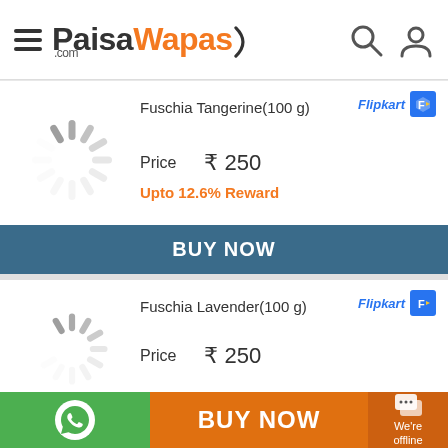PaisaWapas.com
[Figure (logo): Flipkart logo badge top right of first product card]
Fuschia Tangerine(100 g)
Price  ₹ 250
Upto 12.6% Reward
BUY NOW
[Figure (logo): Flipkart logo badge top right of second product card]
Fuschia Lavender(100 g)
Price  ₹ 250
BUY NOW  We're offline